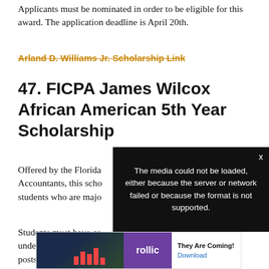Applicants must be nominated in order to be eligible for this award. The application deadline is April 20th.
Arland D. Williams Jr. Scholarship Link
47. FICPA James Wilcox African American 5th Year Scholarship
Offered by the Florida ... Accountants, this scho... students who are majo...
Students must have co... unde... posts...
[Figure (screenshot): Media error overlay: 'The media could not be loaded, either because the server or network failed or because the format is not supported.' with a large X icon and close button.]
[Figure (screenshot): Advertisement banner: left side shows dark background with bar chart animation and Arabic text 'إعلان', middle shows purple background with 'rollic' text logo, right side shows 'They Are Coming!' with Download link button.]